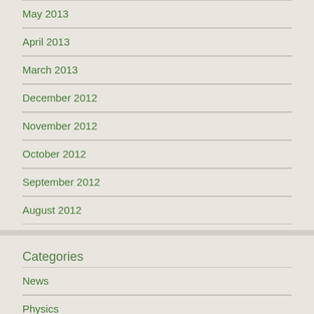May 2013
April 2013
March 2013
December 2012
November 2012
October 2012
September 2012
August 2012
Categories
News
Physics
Quantum information